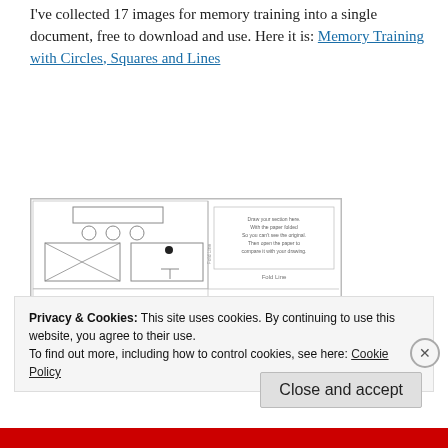I've collected 17 images for memory training into a single document, free to download and use. Here it is: Memory Training with Circles, Squares and Lines
[Figure (illustration): A document layout showing a memory training worksheet with geometric shapes (rectangles, circles, envelope shapes with diagonal lines), fold line, name field, and lined writing area on the left, with instruction boxes on the right side.]
Privacy & Cookies: This site uses cookies. By continuing to use this website, you agree to their use.
To find out more, including how to control cookies, see here: Cookie Policy
Close and accept